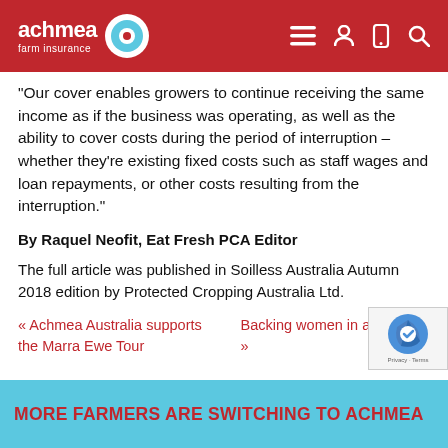Achmea Farm Insurance
"Our cover enables growers to continue receiving the same income as if the business was operating, as well as the ability to cover costs during the period of interruption – whether they're existing fixed costs such as staff wages and loan repayments, or other costs resulting from the interruption."
By Raquel Neofit, Eat Fresh PCA Editor
The full article was published in Soilless Australia Autumn 2018 edition by Protected Cropping Australia Ltd.
« Achmea Australia supports the Marra Ewe Tour
Backing women in agriculture »
MORE FARMERS ARE SWITCHING TO ACHMEA